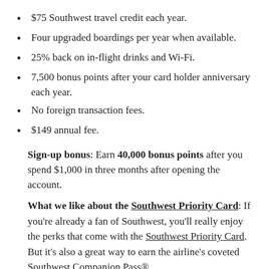$75 Southwest travel credit each year.
Four upgraded boardings per year when available.
25% back on in-flight drinks and Wi-Fi.
7,500 bonus points after your card holder anniversary each year.
No foreign transaction fees.
$149 annual fee.
Sign-up bonus: Earn 40,000 bonus points after you spend $1,000 in three months after opening the account.
What we like about the Southwest Priority Card: If you're already a fan of Southwest, you'll really enjoy the perks that come with the Southwest Priority Card. But it's also a great way to earn the airline's coveted Southwest Companion Pass®.
The Companion Pass is an elite travel benefit that allows another passenger to fly with you for free on Southwest...